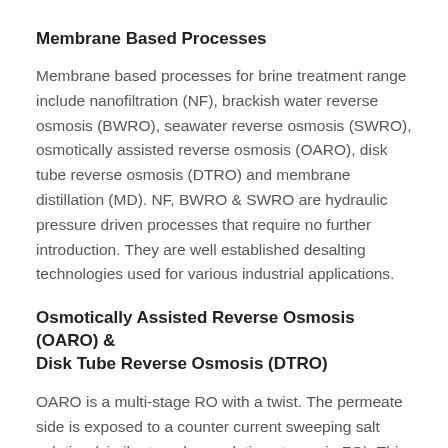Membrane Based Processes
Membrane based processes for brine treatment range include nanofiltration (NF), brackish water reverse osmosis (BWRO), seawater reverse osmosis (SWRO), osmotically assisted reverse osmosis (OARO), disk tube reverse osmosis (DTRO) and membrane distillation (MD). NF, BWRO & SWRO are hydraulic pressure driven processes that require no further introduction. They are well established desalting technologies used for various industrial applications.
Osmotically Assisted Reverse Osmosis (OARO) & Disk Tube Reverse Osmosis (DTRO)
OARO is a multi-stage RO with a twist. The permeate side is exposed to a counter current sweeping salt solution (similar to a draw solution stream in FO). This sweep solution is fed into the next stage OARO until the final stage where a simple